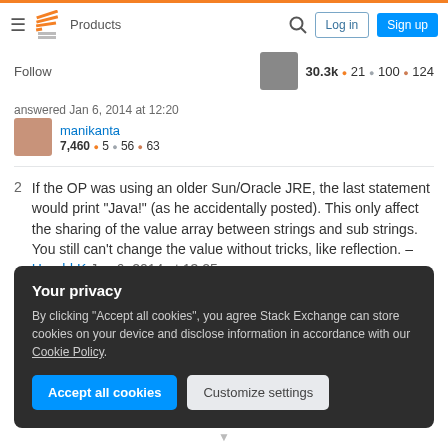Stack Overflow — Products | Log in | Sign up
Follow   30.3k • 21 • 100 • 124
answered Jan 6, 2014 at 12:20
manikanta 7,460 • 5 • 56 • 63
2  If the OP was using an older Sun/Oracle JRE, the last statement would print "Java!" (as he accidentally posted). This only affect the sharing of the value array between strings and sub strings. You still can't change the value without tricks, like reflection. – Harald K Jan 6, 2014 at 13:25
Your privacy
By clicking "Accept all cookies", you agree Stack Exchange can store cookies on your device and disclose information in accordance with our Cookie Policy.
[Accept all cookies] [Customize settings]